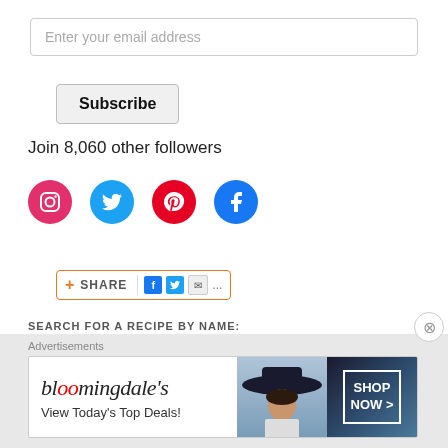Enter your email address
Subscribe
Join 8,060 other followers
[Figure (infographic): Four social media icons: Instagram (pink), Twitter (blue), Pinterest (red), Facebook (blue)]
[Figure (infographic): Share bar with plus icon, SHARE label, and social sharing icons for Facebook, Twitter, email, and more]
SEARCH FOR A RECIPE BY NAME:
[Figure (infographic): Bloomingdales advertisement banner: 'View Today's Top Deals!' with 'SHOP NOW >' button and woman in hat image]